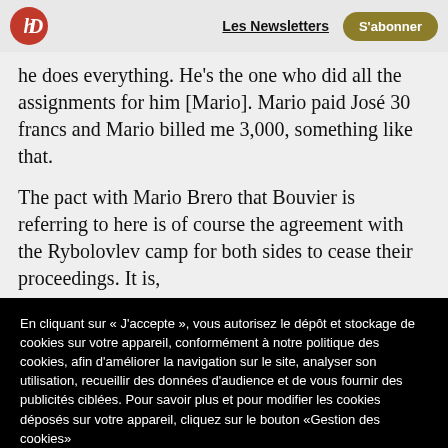HD | Les Newsletters | S'abonner
he does everything. He’s the one who did all the assignments for him [Mario]. Mario paid José 30 francs and Mario billed me 3,000, something like that.
The pact with Mario Brero that Bouvier is referring to here is of course the agreement with the Rybolovlev camp for both sides to cease their proceedings. It is,
En cliquant sur « J’accepte », vous autorisez le dépôt et stockage de cookies sur votre appareil, conformément à notre politique des cookies, afin d’améliorer la navigation sur le site, analyser son utilisation, recueillir des données d’audience et de vous fournir des publicités ciblées. Pour savoir plus et pour modifier les cookies déposés sur votre appareil, cliquez sur le bouton «Gestion des cookies»
Gestion des cookies
J’accepte